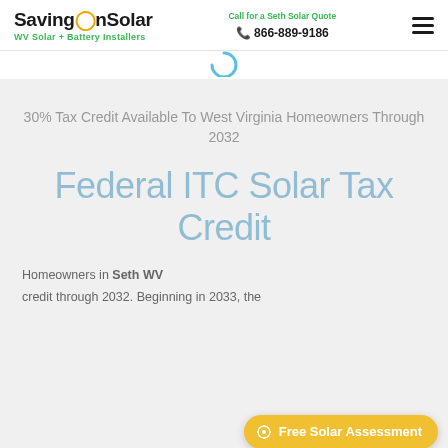SavingOnSolar — WV Solar + Battery Installers | Call for a Seth Solar Quote | 866-889-9186
[Figure (illustration): Partial circular loading/spinner arc icon in blue, partially visible at top of gray section]
30% Tax Credit Available To West Virginia Homeowners Through 2032
Federal ITC Solar Tax Credit
Homeowners in Seth WV... credit through 2032. Beginning in 2033, the...